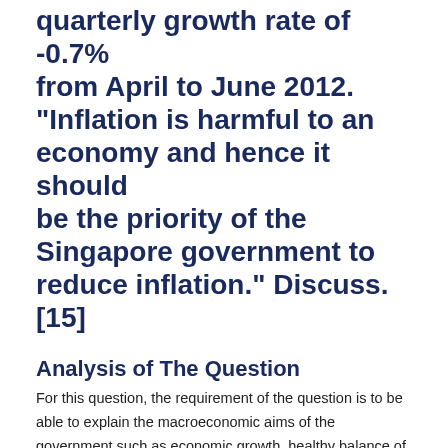quarterly growth rate of -0.7% from April to June 2012. "Inflation is harmful to an economy and hence it should be the priority of the Singapore government to reduce inflation." Discuss. [15]
Analysis of The Question
For this question, the requirement of the question is to be able to explain the macroeconomic aims of the government such as economic growth, healthy balance of payments and low unemployment, while comprehensively explain the importance of low inflation.
Also, explain why inflation should not be the sole aim of the government, as well as the determinants through which low inflation should be prioritised